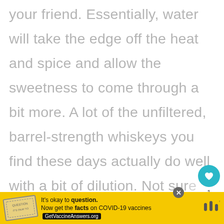your friend. Essentially, water will take the edge off the heat and spice and allow the sweetness to come through a bit more. A lot of the unfiltered, barrel-strength whiskeys you find these days actually do well with a bit of dilution. Not sur[e] having your bourbon with water?
[Figure (infographic): Like button (teal circle with heart icon) and count of 1, share button below]
[Figure (infographic): What's Next card showing Strawberry Whiskey Sour with thumbnail photo]
[Figure (infographic): Yellow advertisement bar at bottom: It's okay to question. Now get the facts on COVID-19 vaccines. GetVaccineAnswers.org. With close X button and logo.]